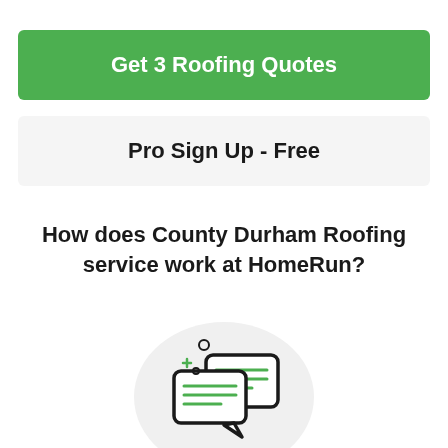Get 3 Roofing Quotes
Pro Sign Up - Free
How does County Durham Roofing service work at HomeRun?
[Figure (illustration): Icon of two overlapping speech/chat bubbles with horizontal lines inside, with small decorative plus and circle symbols, set on a light grey circular background]